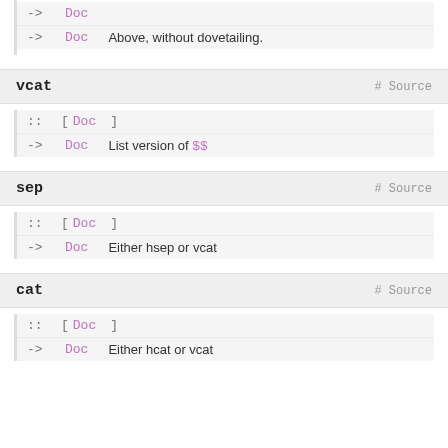-> Doc   Above, without dovetailing.
vcat   # Source
:: [Doc]
-> Doc   List version of $$
sep   # Source
:: [Doc]
-> Doc   Either hsep or vcat
cat   # Source
:: [Doc]
-> Doc   Either hcat or vcat